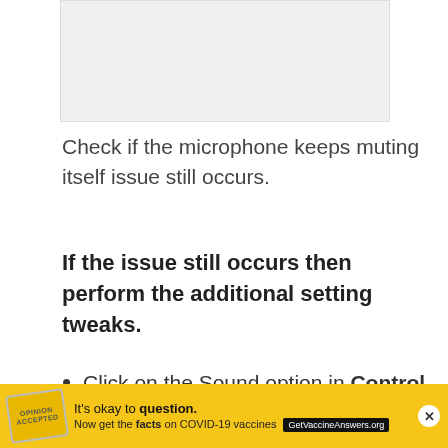[Figure (other): A light gray rectangular image placeholder at the top of the page]
Check if the microphone keeps muting itself issue still occurs.
If the issue still occurs then perform the additional setting tweaks.
Click on the Sound option in Control Panel >> Hardware and Sounds
[Figure (other): Advertisement banner with yellow background: 'It's okay to question. Now get the facts on COVID-19 vaccines GetVaccineAnswers.org' with a stamp logo and close button]